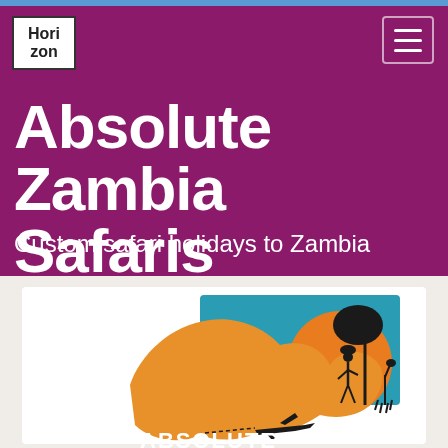[Figure (logo): Horizon magazine logo — white box with 'Hori Zon' text in bold]
[Figure (logo): Hamburger menu icon — three horizontal white lines in a rounded rectangle border]
Absolute Zambia Safaris
Custom safari holidays to Zambia
[Figure (logo): Absolute Zambia Safaris logo — orange map of Zambia with a teal/orange African sunset scene overlaid, silhouette of tree and person with giraffe, text ABSOLUTE at bottom]